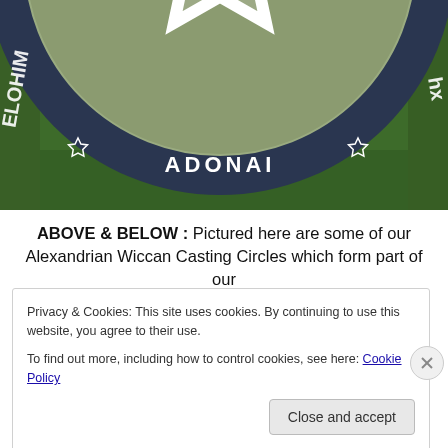[Figure (photo): A circular Alexandrian Wiccan Casting Circle placed on grass. The circle has a dark navy/black outer ring with stars and text including 'ADONAI' at the bottom, surrounding a sage-green interior field with a white pentagram (five-pointed star) design. Partial text visible on the outer ring sides.]
ABOVE & BELOW : Pictured here are some of our Alexandrian Wiccan Casting Circles which form part of our
Privacy & Cookies: This site uses cookies. By continuing to use this website, you agree to their use.
To find out more, including how to control cookies, see here: Cookie Policy